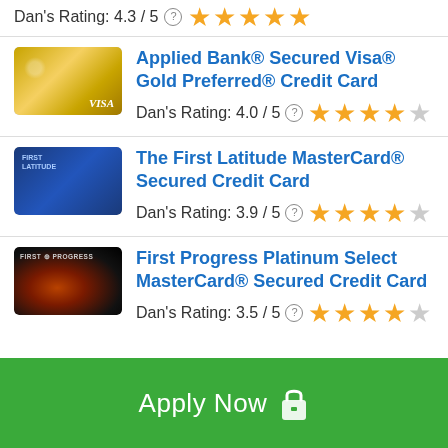Dan's Rating: 4.3 / 5 ★★★★★
[Figure (other): Applied Bank gold Visa credit card image]
Applied Bank® Secured Visa® Gold Preferred® Credit Card
Dan's Rating: 4.0 / 5 ★★★★☆
[Figure (other): First Latitude blue MasterCard credit card image]
The First Latitude MasterCard® Secured Credit Card
Dan's Rating: 3.9 / 5 ★★★★☆
[Figure (other): First Progress black MasterCard credit card image]
First Progress Platinum Select MasterCard® Secured Credit Card
Dan's Rating: 3.5 / 5 ★★★★☆
Apply Now 🔒